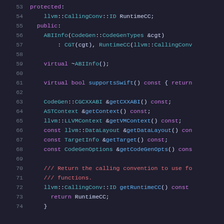[Figure (screenshot): Source code screenshot showing C++ class definition lines 53-74 with syntax highlighting on dark background. Code includes protected/public access specifiers, ABIInfo constructor, virtual methods, and getter methods for various contexts and options.]